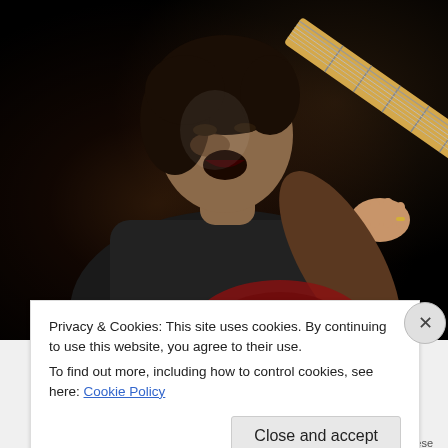[Figure (photo): A guitarist (man with dark hair, wearing a dark t-shirt) playing an electric guitar with a maple neck, mouth open, performing on a dark stage. The image is dramatically lit against a black background.]
Privacy & Cookies: This site uses cookies. By continuing to use this website, you agree to their use.
To find out more, including how to control cookies, see here: Cookie Policy